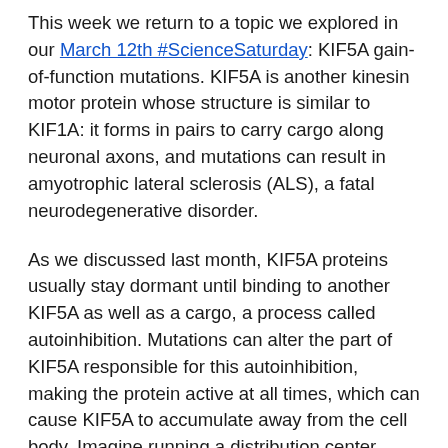This week we return to a topic we explored in our March 12th #ScienceSaturday: KIF5A gain-of-function mutations. KIF5A is another kinesin motor protein whose structure is similar to KIF1A: it forms in pairs to carry cargo along neuronal axons, and mutations can result in amyotrophic lateral sclerosis (ALS), a fatal neurodegenerative disorder.
As we discussed last month, KIF5A proteins usually stay dormant until binding to another KIF5A as well as a cargo, a process called autoinhibition. Mutations can alter the part of KIF5A responsible for this autoinhibition, making the protein active at all times, which can cause KIF5A to accumulate away from the cell body. Imagine running a distribution center where your semi-trucks left whether they had cargo or not—pretty soon your warehouse would be empty and unable to make shipments!
This week's featured article further assessed KIF5A gain-of-function mutations using a variety of cell lines, including patient-derived neuronal cultures. The study found that